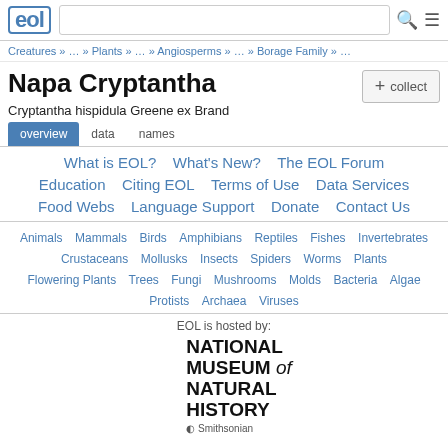EOL [logo] [search box] [search icon] [menu icon]
Creatures » … » Plants » … » Angiosperms » … » Borage Family » …
Napa Cryptantha
Cryptantha hispidula Greene ex Brand
overview   data   names
What is EOL?   What's New?   The EOL Forum
Education   Citing EOL   Terms of Use   Data Services
Food Webs   Language Support   Donate   Contact Us
Animals   Mammals   Birds   Amphibians   Reptiles   Fishes   Invertebrates
Crustaceans   Mollusks   Insects   Spiders   Worms   Plants
Flowering Plants   Trees   Fungi   Mushrooms   Molds   Bacteria   Algae
Protists   Archaea   Viruses
EOL is hosted by:
[Figure (logo): National Museum of Natural History logo with Smithsonian text below]